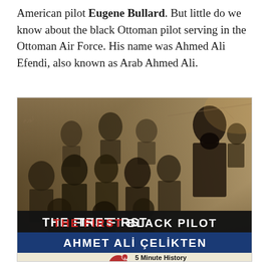American pilot Eugene Bullard. But little do we know about the black Ottoman pilot serving in the Ottoman Air Force. His name was Ahmed Ali Efendi, also known as Arab Ahmed Ali.
[Figure (photo): Historical sepia-toned photograph showing a group of Ottoman military pilots and soldiers. In the bottom portion, a dark banner reads 'THE FIRST BLACK PILOT' in white and red text, and below it 'AHMET ALI ÇELİKTEN' on a blue background. A '5 Minute History' logo appears at the bottom with social media handles and a Patreon support URL.]